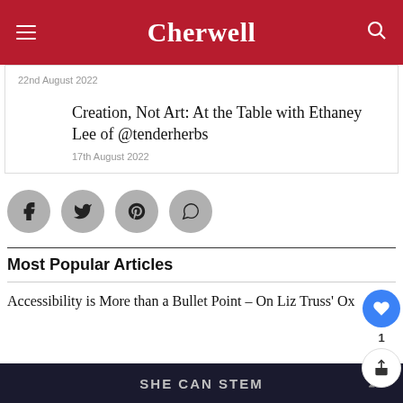Cherwell
22nd August 2022
Creation, Not Art: At the Table with Ethaney Lee of @tenderherbs
17th August 2022
[Figure (other): Social sharing buttons: Facebook, Twitter, Pinterest, WhatsApp]
[Figure (other): Like button with count 1 and share button]
Most Popular Articles
Accessibility is More than a Bullet Point – On Liz Truss' Ox
[Figure (other): Advertisement banner: SHE CAN STEM]